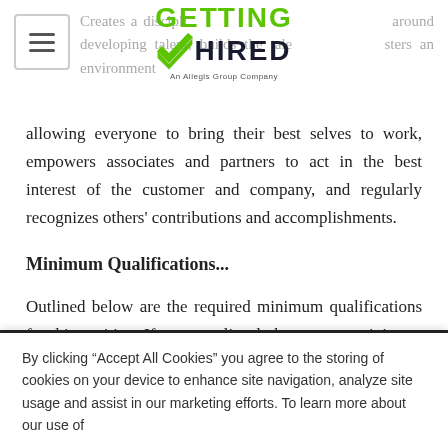Creates a disciplined approach around developing talent, builds the talent pipeline, fosters an environment allowing everyone to bring their best selves to work, empowers associates and partners to act in the best interest of the customer and company, and regularly recognizes others' contributions and accomplishments.
[Figure (logo): Getting Hired logo - An Allegis Group Company]
allowing everyone to bring their best selves to work, empowers associates and partners to act in the best interest of the customer and company, and regularly recognizes others' contributions and accomplishments.
Minimum Qualifications...
Outlined below are the required minimum qualifications for this position. If none are listed, there are no minimum qualifications.
Preferred Qualifications...
By clicking “Accept All Cookies” you agree to the storing of cookies on your device to enhance site navigation, analyze site usage and assist in our marketing efforts. To learn more about our use of